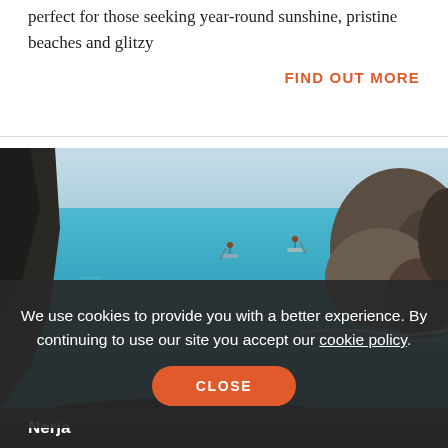perfect for those seeking year-round sunshine, pristine beaches and glitzy
FIND OUT MORE
[Figure (photo): Coastal scene with blue sea, rocky cliffs and two people paddle-boarding in calm water]
We use cookies to provide you with a better experience. By continuing to use our site you accept our cookie policy.
CLOSE
Nerja